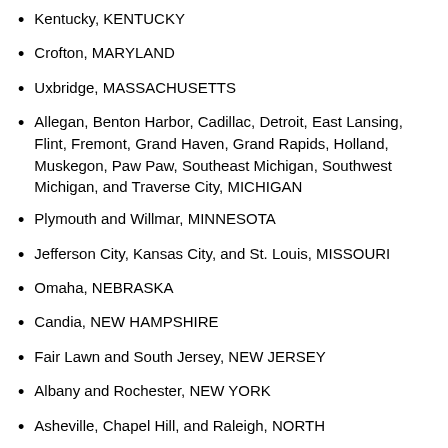Kentucky, KENTUCKY
Crofton, MARYLAND
Uxbridge, MASSACHUSETTS
Allegan, Benton Harbor, Cadillac, Detroit, East Lansing, Flint, Fremont, Grand Haven, Grand Rapids, Holland, Muskegon, Paw Paw, Southeast Michigan, Southwest Michigan, and Traverse City, MICHIGAN
Plymouth and Willmar, MINNESOTA
Jefferson City, Kansas City, and St. Louis, MISSOURI
Omaha, NEBRASKA
Candia, NEW HAMPSHIRE
Fair Lawn and South Jersey, NEW JERSEY
Albany and Rochester, NEW YORK
Asheville, Chapel Hill, and Raleigh, NORTH